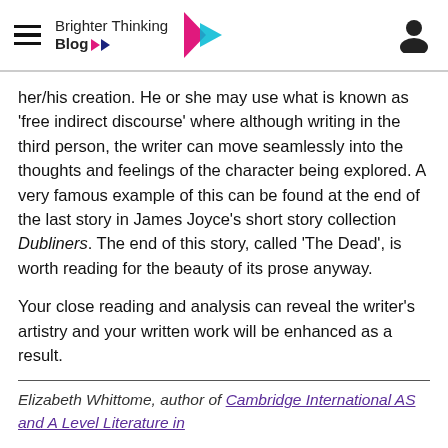Brighter Thinking Blog
her/his creation. He or she may use what is known as 'free indirect discourse' where although writing in the third person, the writer can move seamlessly into the thoughts and feelings of the character being explored. A very famous example of this can be found at the end of the last story in James Joyce's short story collection Dubliners. The end of this story, called 'The Dead', is worth reading for the beauty of its prose anyway.

Your close reading and analysis can reveal the writer's artistry and your written work will be enhanced as a result.
Elizabeth Whittome, author of Cambridge International AS and A Level Literature in